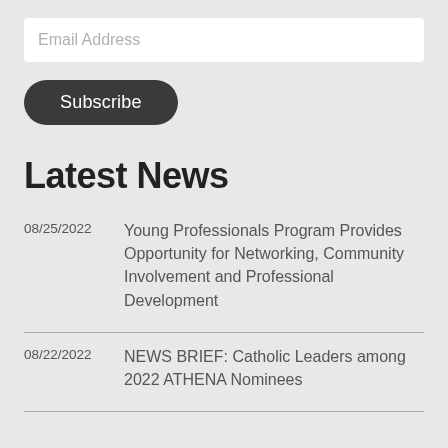Email Address
Subscribe
Latest News
08/25/2022 Young Professionals Program Provides Opportunity for Networking, Community Involvement and Professional Development
08/22/2022 NEWS BRIEF: Catholic Leaders among 2022 ATHENA Nominees